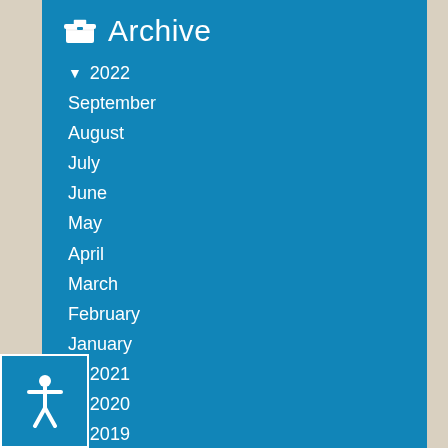Archive
▼ 2022
September
August
July
June
May
April
March
February
January
► 2021
► 2020
► 2019
► 2018
2017
2016
► 2015
► 2014